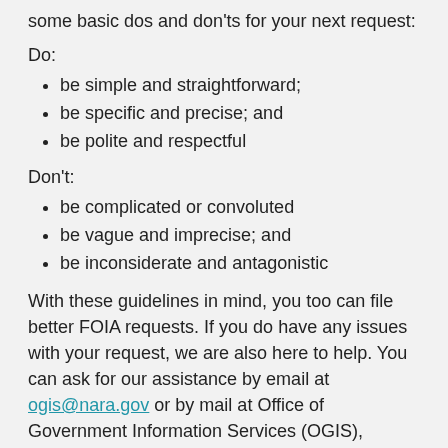some basic dos and don'ts for your next request:
Do:
be simple and straightforward;
be specific and precise; and
be polite and respectful
Don't:
be complicated or convoluted
be vague and imprecise; and
be inconsiderate and antagonistic
With these guidelines in mind, you too can file better FOIA requests. If you do have any issues with your request, we are also here to help. You can ask for our assistance by email at ogis@nara.gov or by mail at Office of Government Information Services (OGIS), National Archives and Records Administration, 8601